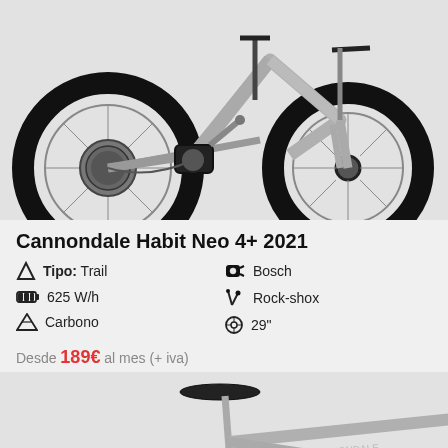[Figure (photo): Cannondale Habit Neo 4+ 2021 electric mountain bike, silver/grey color, full suspension, large 29-inch wheels with knobby tires, Bosch motor, displayed on light grey background.]
Cannondale Habit Neo 4+ 2021
Tipo: Trail | 625 W/h | Carbono | Bosch | Rock-shox | 29"
Desde 189€ al mes (+ iva)
[Figure (photo): Partial view of a silver/grey bicycle frame showing seat, top tube and handlebars area, on grey background.]